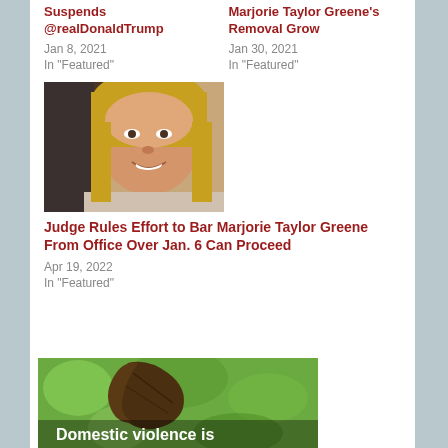Suspends @realDonaldTrump
Jan 8, 2021
In "Featured"
Marjorie Taylor Greene's Removal Grow
Jan 30, 2021
In "Featured"
[Figure (photo): Portrait photo of Marjorie Taylor Greene smiling]
Judge Rules Effort to Bar Marjorie Taylor Greene From Office Over Jan. 6 Can Proceed
Apr 19, 2022
In "Featured"
[Figure (photo): Close-up of a bird with green blurred background, with text overlay 'Domestic violence is']